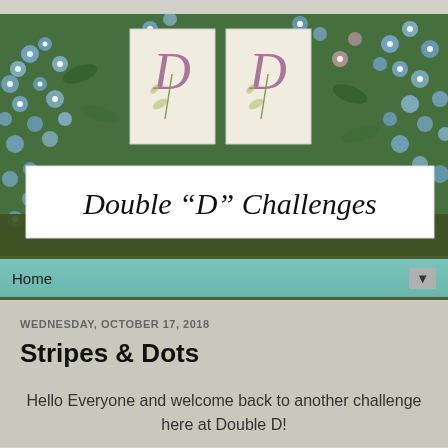[Figure (photo): Blog header banner for 'Double D Challenges' showing a floral background of blue forget-me-not flowers, two decorative 'D' logo cards, and a white title banner reading Double "D" Challenges in italic serif font]
Home
WEDNESDAY, OCTOBER 17, 2018
Stripes & Dots
Hello Everyone and welcome back to another challenge here at Double D!